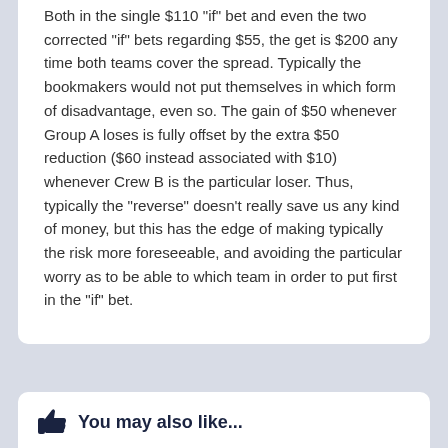Both in the single $110 'if' bet and even the two corrected "if" bets regarding $55, the get is $200 any time both teams cover the spread. Typically the bookmakers would not put themselves in which form of disadvantage, even so. The gain of $50 whenever Group A loses is fully offset by the extra $50 reduction ($60 instead associated with $10) whenever Crew B is the particular loser. Thus, typically the "reverse" doesn't really save us any kind of money, but this has the edge of making typically the risk more foreseeable, and avoiding the particular worry as to be able to which team in order to put first in the "if" bet.
December 18, 2021 by admin  Uncategorized  0
You may also like...